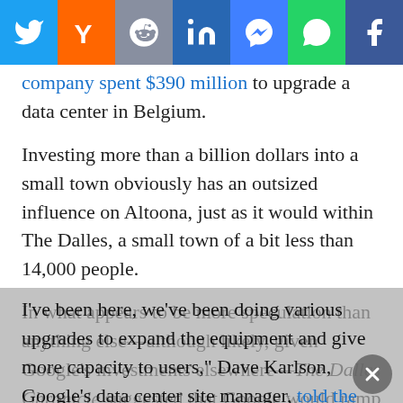[Figure (other): Social media share buttons bar: Twitter (blue), Hacker News Y (orange), Reddit (grey-blue), LinkedIn (blue), Messenger (blue), WhatsApp (green), Facebook (dark blue)]
company spent $390 million to upgrade a data center in Belgium.
Investing more than a billion dollars into a small town obviously has an outsized influence on Altoona, just as it would within The Dalles, a small town of a bit less than 14,000 people.
In what appears to be more speculation than anything else—although likely, given Google’s investments elsewhere—The Dalles Chronicle suggested that Google would ramp up its presence there, as well. “For the last six years I’ve been here, we’ve been doing various upgrades to expand the equipment and give more capacity to users,” Dave Karlson, Google’s data center site manager, told the